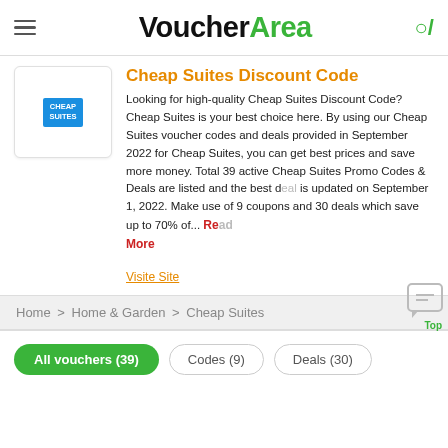VoucherArea
Cheap Suites Discount Code
Looking for high-quality Cheap Suites Discount Code? Cheap Suites is your best choice here. By using our Cheap Suites voucher codes and deals provided in September 2022 for Cheap Suites, you can get best prices and save more money. Total 39 active Cheap Suites Promo Codes & Deals are listed and the best deal is updated on September 1, 2022. Make use of 9 coupons and 30 deals which save up to 70% of... Read More
Visite Site
Home > Home & Garden > Cheap Suites
All vouchers (39)
Codes (9)
Deals (30)